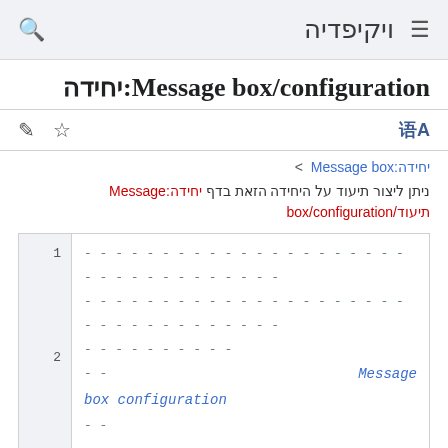ויקיפדיה
יחידה:Message box/configuration
יחידה:Message box > (breadcrumb)
ניתן ליצור תיעוד על היחידה הזאת בדף יחידה:Message box/configuration/תיעוד
-- ... -- -- box configuration --